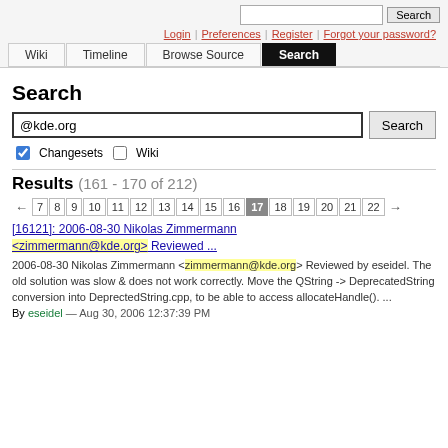Search | Login | Preferences | Register | Forgot your password? | Wiki | Timeline | Browse Source | Search
Search
@kde.org [search input] Search | Changesets [checked] | Wiki [unchecked]
Results (161 - 170 of 212)
← 7 8 9 10 11 12 13 14 15 16 17 18 19 20 21 22 →
[16121]: 2006-08-30 Nikolas Zimmermann <zimmermann@kde.org> Reviewed ...
2006-08-30 Nikolas Zimmermann <zimmermann@kde.org> Reviewed by eseidel. The old solution was slow & does not work correctly. Move the QString -> DeprecatedString conversion into DeprectedString.cpp, to be able to access allocateHandle(). ...
By eseidel — Aug 30, 2006 12:37:39 PM